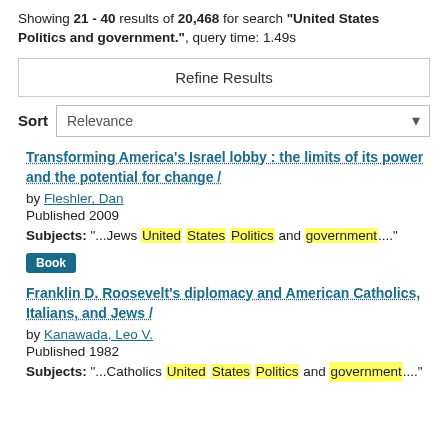Showing 21 - 40 results of 20,468 for search '"United States Politics and government."', query time: 1.49s
Refine Results
Sort  Relevance
Transforming America's Israel lobby : the limits of its power and the potential for change /
by Fleshler, Dan
Published 2009
Subjects: "...Jews United States Politics and government...."
Book
Franklin D. Roosevelt's diplomacy and American Catholics, Italians, and Jews /
by Kanawada, Leo V.
Published 1982
Subjects: "...Catholics United States Politics and government...."